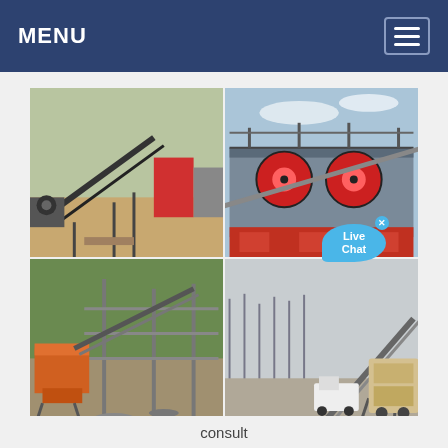MENU
[Figure (photo): Four-panel image grid showing industrial mining/crushing equipment and conveyor belt systems at construction/mining sites. Top-left: open-air conveyor belt and crushing plant. Top-right: large industrial facility with red rotating drum equipment and steel framework. Bottom-left: construction site with orange crusher equipment and steel framework under construction. Bottom-right: mining site with conveyor belt system and industrial vehicles in foggy conditions.]
CONCEPTS OF FEEDER DESIGN AN
consult